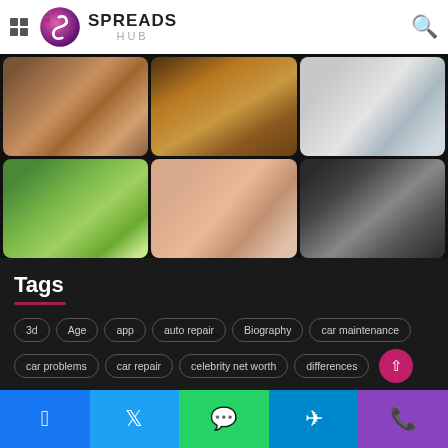SPREADS HUB
[Figure (screenshot): 3x2 grid of thumbnail images: hands with objects, interior room, MRI machine, person walking dog, child, business people]
Tags
3d
Age
app
auto repair
Biography
car maintenance
car problems
car repair
celebrity net worth
differences
Facebook Twitter WhatsApp Telegram Phone